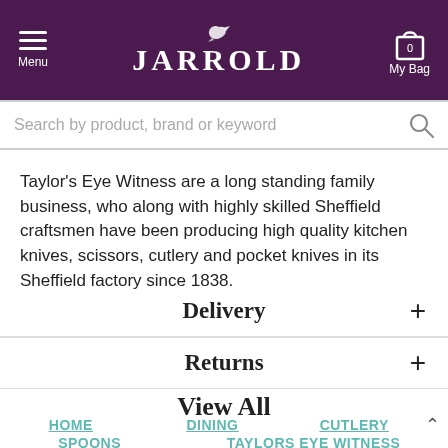Menu | JARROLD | My Bag 0
Search by product, brand or keyword
Taylor's Eye Witness are a long standing family business, who along with highly skilled Sheffield craftsmen have been producing high quality kitchen knives, scissors, cutlery and pocket knives in its Sheffield factory since 1838.
Delivery
Returns
View All
HOME | DINING | CUTLERY
SPOONS | TAYLORS EYE WITNESS